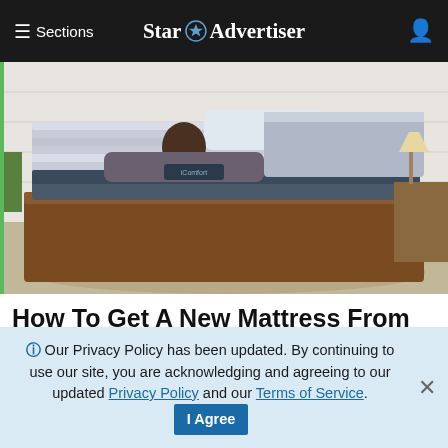≡ Sections  Star Advertiser
[Figure (photo): Woman lying on a Serta iComfort adjustable mattress in a bedroom setting]
How To Get A New Mattress From Medicare Today
ⓘ Our Privacy Policy has been updated. By continuing to use our site, you are acknowledging and agreeing to our updated Privacy Policy and our Terms of Service. I Agree